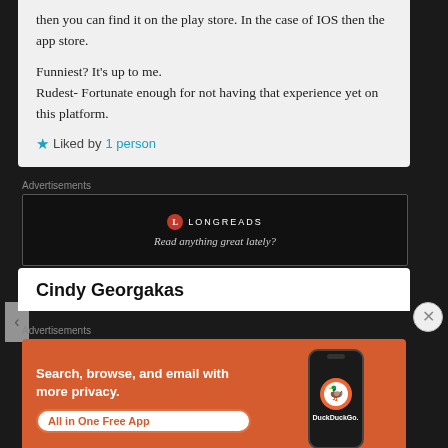then you can find it on the play store. In the case of IOS then the app store.

Funniest? It's up to me.
Rudest- Fortunate enough for not having that experience yet on this platform.
★ Liked by 1 person
Advertisements
[Figure (other): Longreads advertisement banner: black background with Longreads logo and tagline 'Read anything great lately?']
REPORT THIS AD
Cindy Georgakas
Advertisements
[Figure (other): DuckDuckGo advertisement banner: orange background with text 'Search, browse, and email with more privacy.' and 'All in One Free App' CTA button, with a phone showing DuckDuckGo logo on the right side.]